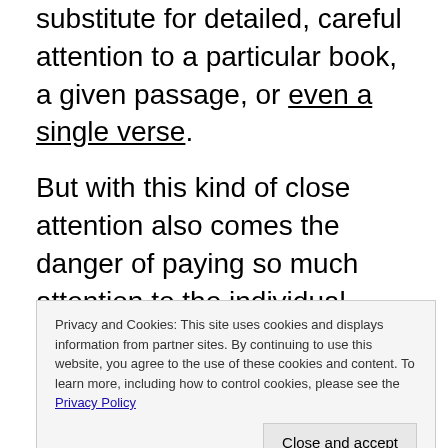substitute for detailed, careful attention to a particular book, a given passage, or even a single verse.
But with this kind of close attention also comes the danger of paying so much attention to the individual trees that the forest fades from view.
There's a risk of increasing knowledge of a small slice of the biblical literature at the cost of i[gnoring] ... u[nderstanding] ... habit of Bible reading.
Privacy and Cookies: This site uses cookies and displays information from partner sites. By continuing to use this website, you agree to the use of these cookies and content. To learn more, including how to control cookies, please see the Privacy Policy